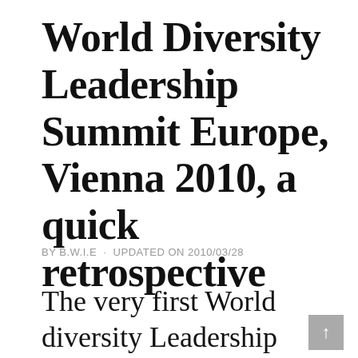World Diversity Leadership Summit Europe, Vienna 2010, a quick retrospective
BY B.W.I.E · UPDATED ON 2010/03/28
The very first World diversity Leadership Summit Europe under the